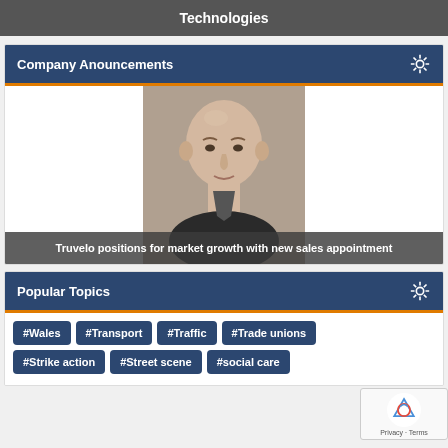Technologies
Company Anouncements
[Figure (photo): Headshot of a bald man in a dark suit against a grey background]
Truvelo positions for market growth with new sales appointment
Popular Topics
#Wales
#Transport
#Traffic
#Trade unions
#Strike action
#Street scene
#social care